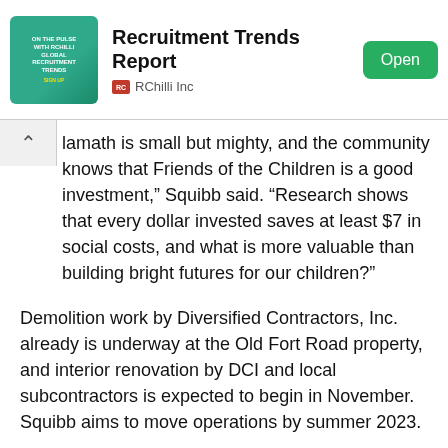[Figure (infographic): RChilli Inc ad banner showing 'Recruitment Trends Report' with a teal green illustrated graphic, an Open button, and the RChilli Inc source name.]
lamath is small but mighty, and the community knows that Friends of the Children is a good investment,” Squibb said. “Research shows that every dollar invested saves at least $7 in social costs, and what is more valuable than building bright futures for our children?”
Demolition work by Diversified Contractors, Inc. already is underway at the Old Fort Road property, and interior renovation by DCI and local subcontractors is expected to begin in November. Squibb aims to move operations by summer 2023.
Friend Anne Taylor already is prepping her mentees for the change. “Betsy is sad to lose the current Clubhouse but excited to see what